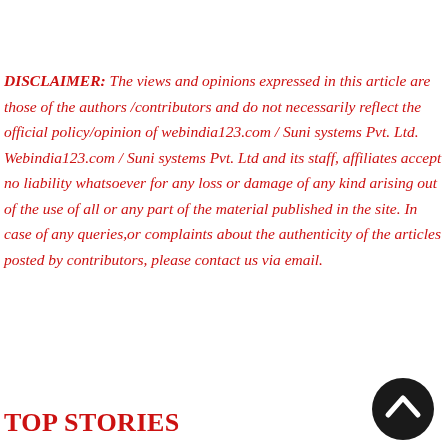DISCLAIMER: The views and opinions expressed in this article are those of the authors /contributors and do not necessarily reflect the official policy/opinion of webindia123.com / Suni systems Pvt. Ltd. Webindia123.com / Suni systems Pvt. Ltd and its staff, affiliates accept no liability whatsoever for any loss or damage of any kind arising out of the use of all or any part of the material published in the site. In case of any queries,or complaints about the authenticity of the articles posted by contributors, please contact us via email.
[Figure (other): Dark circular scroll-to-top button with upward chevron arrow]
TOP STORIES